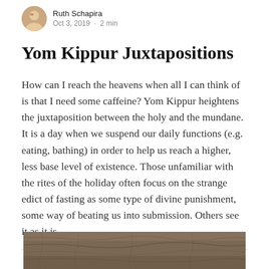Ruth Schapira · Oct 3, 2019 · 2 min
Yom Kippur Juxtapositions
How can I reach the heavens when all I can think of is that I need some caffeine? Yom Kippur heightens the juxtaposition between the holy and the mundane. It is a day when we suspend our daily functions (e.g. eating, bathing) in order to help us reach a higher, less base level of existence. Those unfamiliar with the rites of the holiday often focus on the strange edict of fasting as some type of divine punishment, some way of beating us into submission. Others see it as it is
[Figure (photo): Photograph of an elephant (partially visible), textured grey skin closeup, cropped at bottom of page]